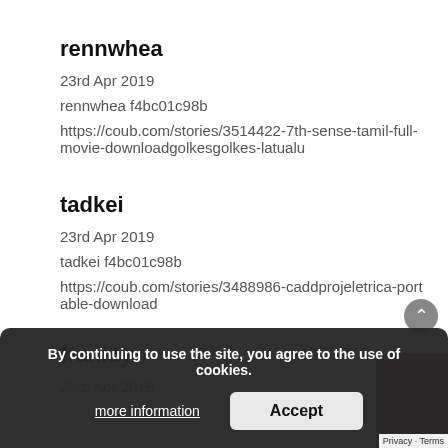rennwhea
23rd Apr 2019
rennwhea f4bc01c98b
https://coub.com/stories/3514422-7th-sense-tamil-full-movie-downloadgolkesgolkes-latualu
tadkei
23rd Apr 2019
tadkei f4bc01c98b
https://coub.com/stories/3488986-caddprojeletrica-portable-download
franlay
23rd Apr 2019
By continuing to use the site, you agree to the use of cookies.
more information
Accept